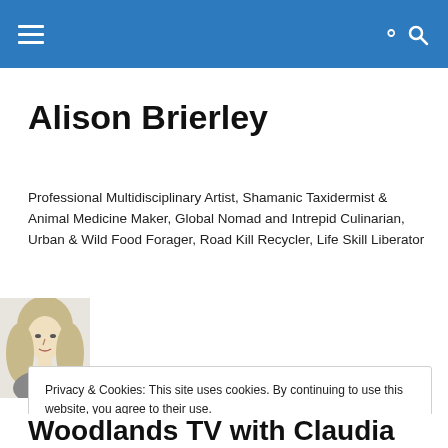Navigation bar with hamburger menu and search icon
Alison Brierley
Professional Multidisciplinary Artist, Shamanic Taxidermist & Animal Medicine Maker, Global Nomad and Intrepid Culinarian, Urban & Wild Food Forager, Road Kill Recycler, Life Skill Liberator
[Figure (photo): Black and white sketch/photo portrait of a blonde woman]
Privacy & Cookies: This site uses cookies. By continuing to use this website, you agree to their use.
To find out more, including how to control cookies, see here: Cookie Policy
Close and accept
Woodlands TV with Claudia